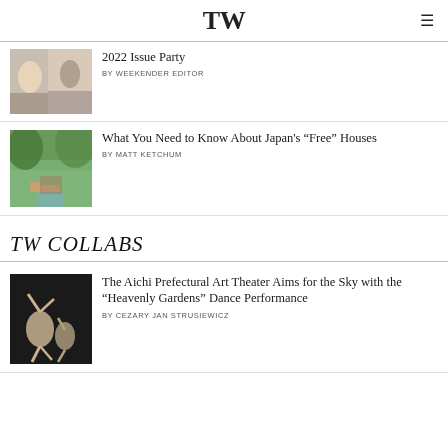TW
2022 Issue Party
BY WEEKENDER EDITOR
What You Need to Know About Japan's “Free” Houses
BY MATT KETCHUM
TW COLLABS
The Aichi Prefectural Art Theater Aims for the Sky with the “Heavenly Gardens” Dance Performance
BY CEZARY JAN STRUSIEWICZ